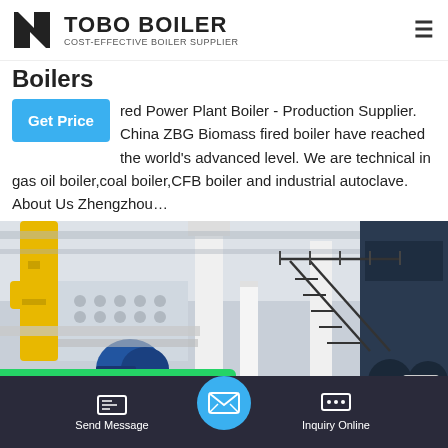TOBO BOILER COST-EFFECTIVE BOILER SUPPLIER
Boilers
red Power Plant Boiler - Production Supplier. China ZBG Biomass fired boiler have reached the world's advanced level. We are technical in gas oil boiler,coal boiler,CFB boiler and industrial autoclave. About Us Zhengzhou...
[Figure (photo): Industrial boiler facility interior showing yellow pipes, white structural columns, metal staircases, blue boiler equipment and industrial machinery]
WhatsApp
Send Message  Inquiry Online